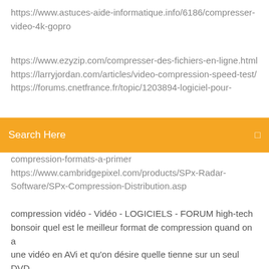https://www.astuces-aide-informatique.info/6186/compresser-video-4k-gopro
https://www.ezyzip.com/compresser-des-fichiers-en-ligne.html
https://larryjordan.com/articles/video-compression-speed-test/
https://forums.cnetfrance.fr/topic/1203894-logiciel-pour-
Search Here
compression-formats-a-primer
https://www.cambridgepixel.com/products/SPx-Radar-Software/SPx-Compression-Distribution.asp
compression vidéo - Vidéo - LOGICIELS - FORUM high-tech bonsoir quel est le meilleur format de compression quand on a une vidéo en AVi et qu'on désire quelle tienne sur un seul DVD pour la lire sur un lecteur de salon sans trop perdre de la qualité 10 applications de compression vidéo les plus préférées pour ...
Top 10 des applications de compression vidéo pour Android/iOS